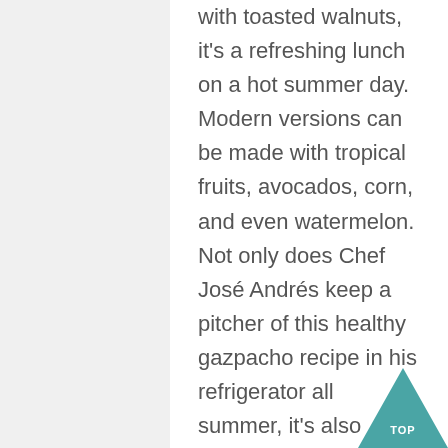with toasted walnuts, it's a refreshing lunch on a hot summer day. Modern versions can be made with tropical fruits, avocados, corn, and even watermelon. Not only does Chef José Andrés keep a pitcher of this healthy gazpacho recipe in his refrigerator all summer, it's also served at Beefsteak, his chain of vegetable-driven restaurants. They can be served hot, such as minestrone, or cold, such as mango and cucumber soup. This refreshing summer soup is a great starter for dinner on the patio on a